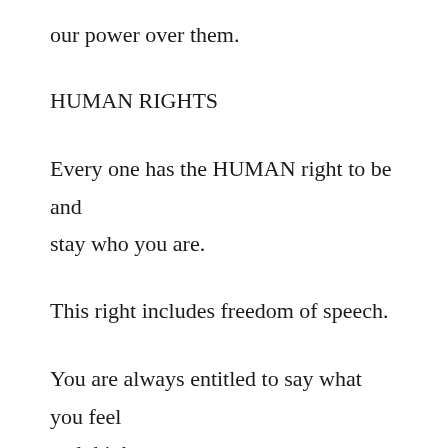our power over them.
HUMAN RIGHTS
Every one has the HUMAN right to be and stay who you are.
This right includes freedom of speech.
You are always entitled to say what you feel and think.